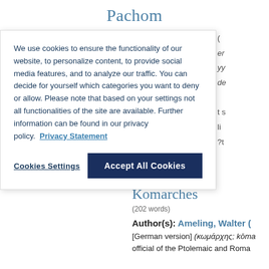Pachom
We use cookies to ensure the functionality of our website, to personalize content, to provide social media features, and to analyze our traffic. You can decide for yourself which categories you want to deny or allow. Please note that based on your settings not all functionalities of the site are available. Further information can be found in our privacy policy. Privacy Statement
Cookies Settings | Accept All Cookies
Komarches
(202 words)
Author(s): Ameling, Walter (
[German version] (κωμάρχης; kōma… official of the Ptolemaic and Roman…